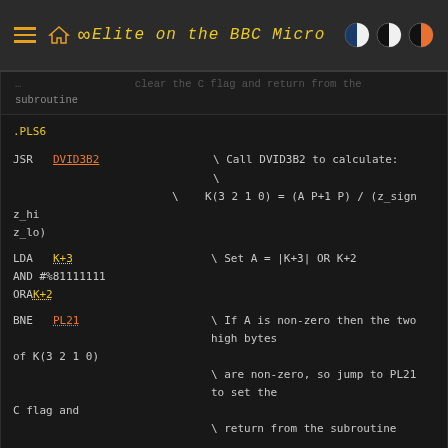Elite on the BBC Micro
... clear the C flag and return from the subroutine
.PLS6

 JSR DVID3B2  \ Call DVID3B2 to calculate:
              \
              \   K(3 2 1 0) = (A P+1 P) / (z_sign z_hi z_lo)

 LDA K+3      \ Set A = |K+3| OR K+2
 AND #%81111111
 ORA K+2

 BNE PL21     \ If A is non-zero then the two high bytes of K(3 2 1 0)
              \ are non-zero, so jump to PL21 to set the C flag and
              \ return from the subroutine

              \ We can now just consider K(1 0), as we know the top

              \ two bytes of K(3 2 1 0) are both 0

 LDX K+1      \ Set X = K+1, so now (X K) contains the